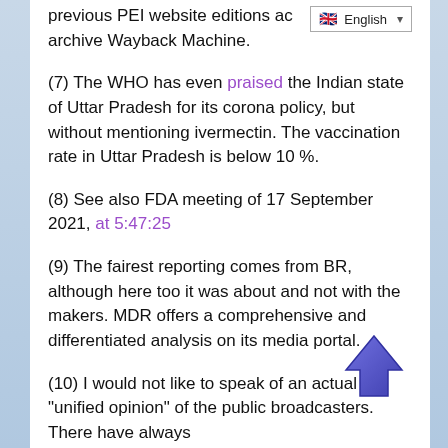previous PEI website editions ac archive Wayback Machine.
(7) The WHO has even praised the Indian state of Uttar Pradesh for its corona policy, but without mentioning ivermectin. The vaccination rate in Uttar Pradesh is below 10 %.
(8) See also FDA meeting of 17 September 2021, at 5:47:25
(9) The fairest reporting comes from BR, although here too it was about and not with the makers. MDR offers a comprehensive and differentiated analysis on its media portal.
(10) I would not like to speak of an actual “unified opinion” of the public broadcasters. There have always